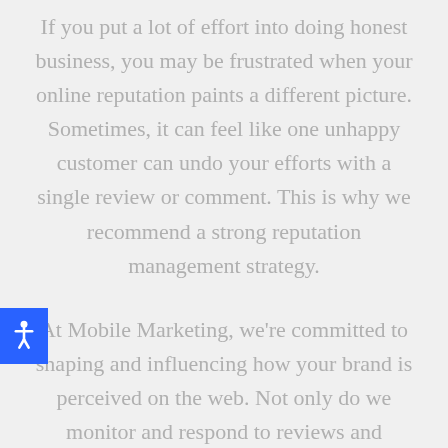If you put a lot of effort into doing honest business, you may be frustrated when your online reputation paints a different picture. Sometimes, it can feel like one unhappy customer can undo your efforts with a single review or comment. This is why we recommend a strong reputation management strategy.
At Mobile Marketing, we're committed to shaping and influencing how your brand is perceived on the web. Not only do we monitor and respond to reviews and